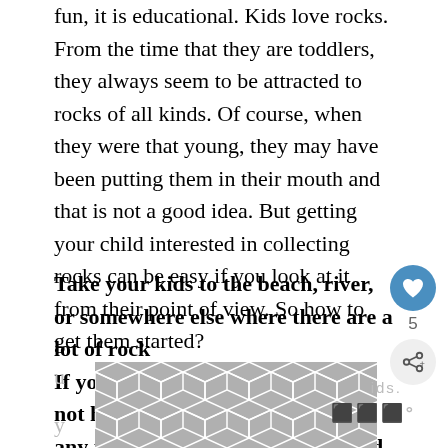fun, it is educational. Kids love rocks. From the time that they are toddlers, they always seem to be attracted to rocks of all kinds. Of course, when they were that young, they may have been putting them in their mouth and that is not a good idea. But getting your child interested in collecting rocks can be easy if you look at it from their point of view. So how to get them started?
Take your kids to the beach, river, or somewhere else where there are a lot of rocks. If you start them early, you should not have any trouble getting them interested because rocks are just fascinating with all of their
[Figure (illustration): Partial image with geometric hexagonal pattern in grey tones, partially visible at the bottom of the page]